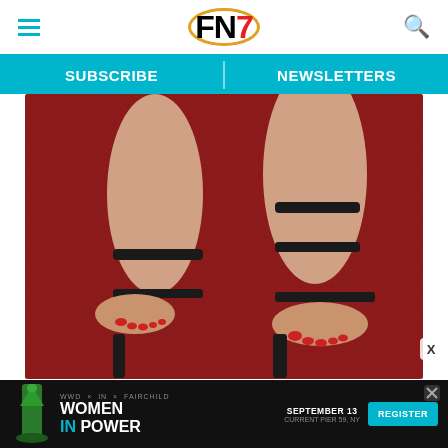FN7 — SUBSCRIBE | NEWSLETTERS
[Figure (photo): Close-up photo of two feet wearing black strappy heeled sandals with red toenail polish, standing on a red carpet.]
[Figure (infographic): Advertisement banner: WWD x IN x Fairchild Women In Power, September 13, Current Pier 59, NY — Register button]